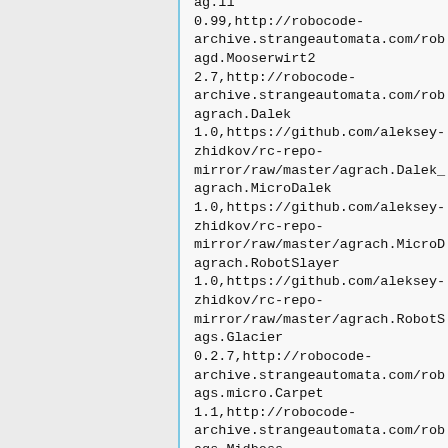ag.11
0.99,http://robocode-archive.strangeautomata.com/rob
agd.Mooserwirt2
2.7,http://robocode-archive.strangeautomata.com/rob
agrach.Dalek
1.0,https://github.com/aleksey-zhidkov/rc-repo-mirror/raw/master/agrach.Dalek_
agrach.MicroDalek
1.0,https://github.com/aleksey-zhidkov/rc-repo-mirror/raw/master/agrach.MicroD
agrach.RobotSlayer
1.0,https://github.com/aleksey-zhidkov/rc-repo-mirror/raw/master/agrach.RobotS
ags.Glacier
0.2.7,http://robocode-archive.strangeautomata.com/rob
ags.micro.Carpet
1.1,http://robocode-archive.strangeautomata.com/rob
ags.Midboss
1.0,http://robocode-